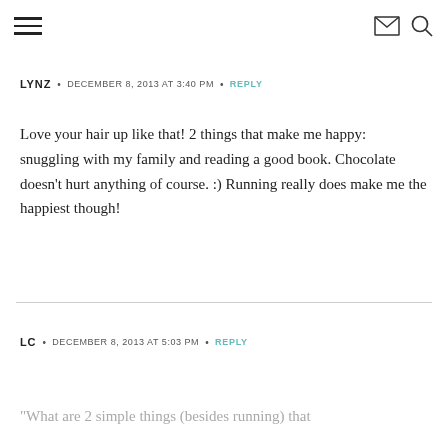Navigation header with hamburger menu, mail icon, and search icon
LYNZ • DECEMBER 8, 2013 AT 3:40 PM • REPLY
Love your hair up like that! 2 things that make me happy: snuggling with my family and reading a good book. Chocolate doesn't hurt anything of course. :) Running really does make me the happiest though!
LC • DECEMBER 8, 2013 AT 5:03 PM • REPLY
"What are 2 simple things (besides running) that